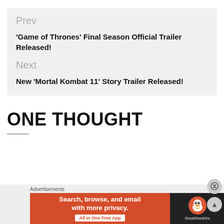Prev
'Game of Thrones' Final Season Official Trailer Released!
Next
New 'Mortal Kombat 11' Story Trailer Released!
ONE THOUGHT
[Figure (other): DuckDuckGo advertisement banner with orange left panel saying 'Search, browse, and email with more privacy. All in One Free App' and dark right panel with DuckDuckGo duck logo]